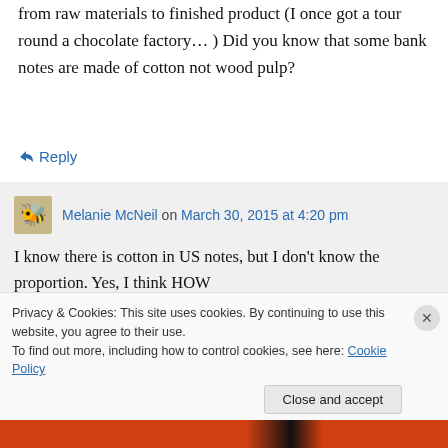from raw materials to finished product (I once got a tour round a chocolate factory… ) Did you know that some bank notes are made of cotton not wood pulp?
↳ Reply
Melanie McNeil on March 30, 2015 at 4:20 pm
I know there is cotton in US notes, but I don't know the proportion. Yes, I think HOW
Privacy & Cookies: This site uses cookies. By continuing to use this website, you agree to their use.
To find out more, including how to control cookies, see here: Cookie Policy
Close and accept